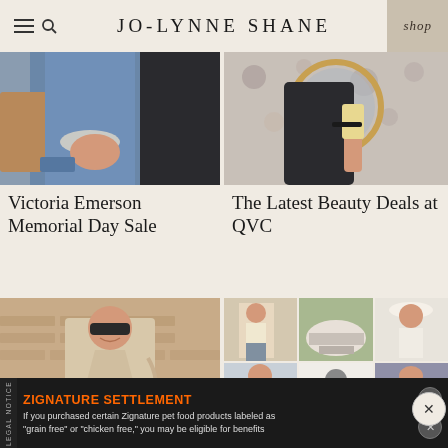JO-LYNNE SHANE
[Figure (photo): Close-up of woman wearing denim jacket with pearl bracelets and tan bag]
Victoria Emerson Memorial Day Sale
[Figure (photo): Overhead view of woman at bathroom mirror with floral wallpaper, holding beauty product]
The Latest Beauty Deals at QVC
[Figure (photo): Woman in beige jacket and jeans posing in front of brick wall]
[Figure (photo): Collage of summer outfit photos including woman in shorts, close-up of slide sandals, woman in white hat, and Summer Wardrobe text overlay]
LEGAL NOTICE  ZIGNATURE SETTLEMENT  If you purchased certain Zignature pet food products labeled as "grain free" or "chicken free," you may be eligible for benefits